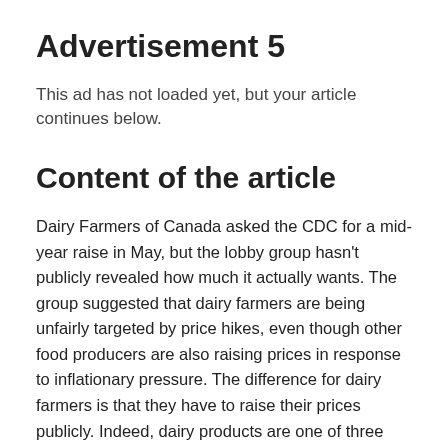Advertisement 5
This ad has not loaded yet, but your article continues below.
Content of the article
Dairy Farmers of Canada asked the CDC for a mid-year raise in May, but the lobby group hasn't publicly revealed how much it actually wants. The group suggested that dairy farmers are being unfairly targeted by price hikes, even though other food producers are also raising prices in response to inflationary pressure. The difference for dairy farmers is that they have to raise their prices publicly. Indeed, dairy products are one of three products covered by Canada's supply management system – a controversial policy that protects the national supply of dairy, poultry and